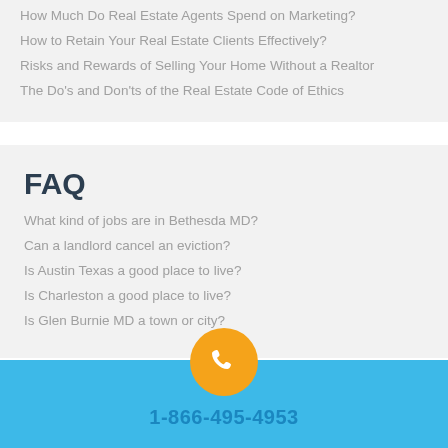How Much Do Real Estate Agents Spend on Marketing?
How to Retain Your Real Estate Clients Effectively?
Risks and Rewards of Selling Your Home Without a Realtor
The Do's and Don'ts of the Real Estate Code of Ethics
FAQ
What kind of jobs are in Bethesda MD?
Can a landlord cancel an eviction?
Is Austin Texas a good place to live?
Is Charleston a good place to live?
Is Glen Burnie MD a town or city?
1-866-495-4953